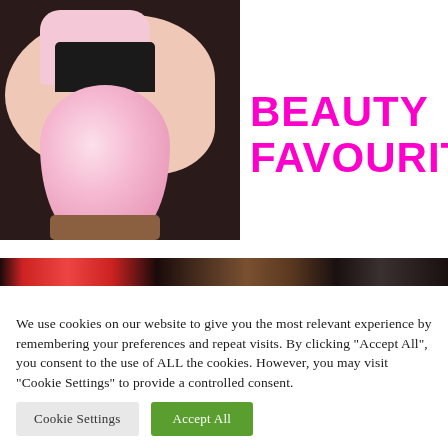[Figure (photo): A hand holding a pink nail polish bottle (Glam brand) showing painted pink nails, photographed close up]
BEAUTY FAVOURITES
[Figure (photo): A partial strip image showing cosmetic products including what appears to be red lipstick and other beauty items]
We use cookies on our website to give you the most relevant experience by remembering your preferences and repeat visits. By clicking “Accept All”, you consent to the use of ALL the cookies. However, you may visit “Cookie Settings” to provide a controlled consent.